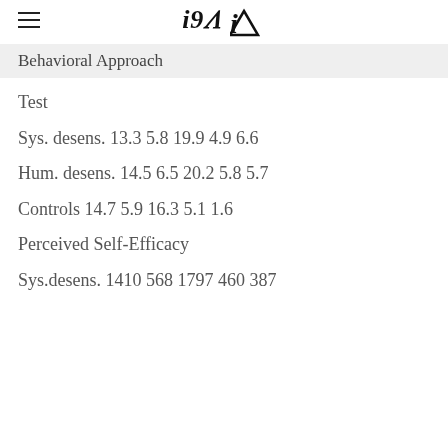iA
Behavioral Approach
Test
Sys. desens. 13.3 5.8 19.9 4.9 6.6
Hum. desens. 14.5 6.5 20.2 5.8 5.7
Controls 14.7 5.9 16.3 5.1 1.6
Perceived Self-Efficacy
Sys.desens. 1410 568 1797 460 387